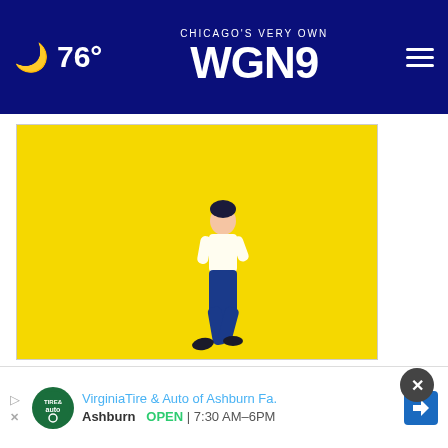Chicago's Very Own WGN9 — 76°
[Figure (illustration): Bright yellow background with a small illustrated figure of a man walking, wearing a white shirt and blue trousers with dark shoes, positioned in the lower-center of the frame.]
[Figure (screenshot): Partial view of an advertisement for Virginia Tire & Auto of Ashburn Fa. Ashburn OPEN 7:30 AM–6PM with logo and navigation icon. Below that is a partial view of a card with tan/gold background showing text 'DULLD AND DING...' in dark blue bold letters.]